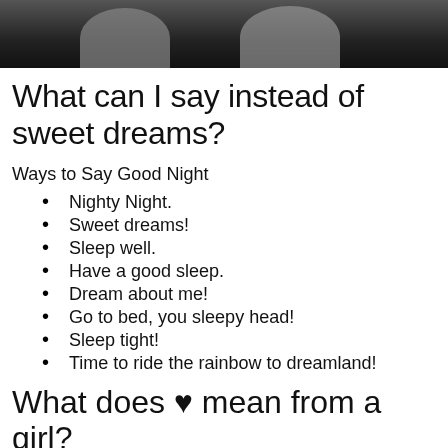[Figure (photo): Photo of two people at the top of the page, dark background]
What can I say instead of sweet dreams?
Ways to Say Good Night
Nighty Night.
Sweet dreams!
Sleep well.
Have a good sleep.
Dream about me!
Go to bed, you sleepy head!
Sleep tight!
Time to ride the rainbow to dreamland!
What does ♥ mean from a girl?